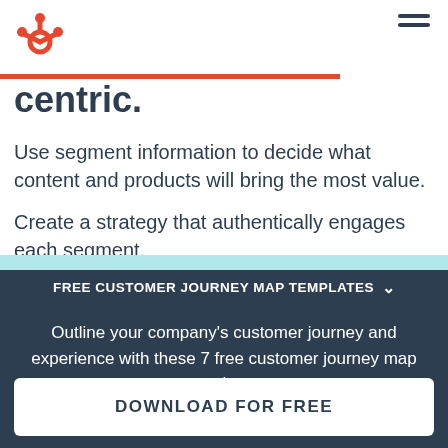[Figure (logo): HubSpot orange sprocket logo in top left corner]
[Figure (illustration): Hamburger menu icon (three horizontal lines) in top right corner]
centric.
Use segment information to decide what content and products will bring the most value.
Create a strategy that authentically engages each segment.
FREE CUSTOMER JOURNEY MAP TEMPLATES
Outline your company's customer journey and experience with these 7 free customer journey map templates.
DOWNLOAD FOR FREE